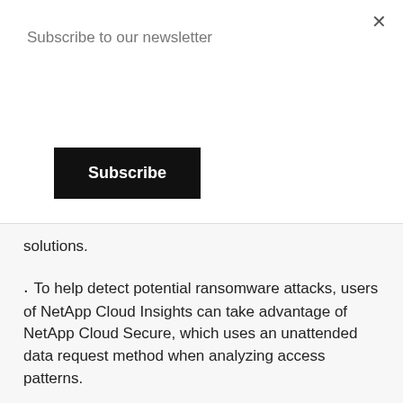Subscribe to our newsletter
Subscribe
solutions.
To help detect potential ransomware attacks, users of NetApp Cloud Insights can take advantage of NetApp Cloud Secure, which uses an unattended data request method when analyzing access patterns.
To help prevent ransomware from executing in a storage environment, customers can use NetApp FPolicy.
To help recover from ransomware, NetApp